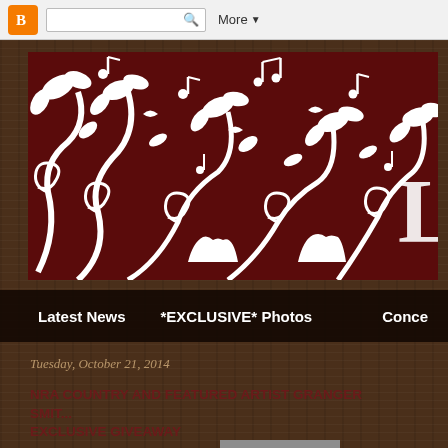[Figure (screenshot): Blogger navigation bar with orange B icon, search box, and More dropdown]
[Figure (illustration): Dark red/maroon banner with white swirling floral decorative pattern including musical notes, scrollwork, leaves, birds, and a large letter L on the right side]
Latest News   *EXCLUSIVE* Photos   Conce...
Tuesday, October 21, 2014
NRA COUNTRY AND FEATURED ARTIST GRANGER SMIT... EXCLUSIVE GIVEAWAY
[Figure (photo): Partial thumbnail image visible at bottom right]